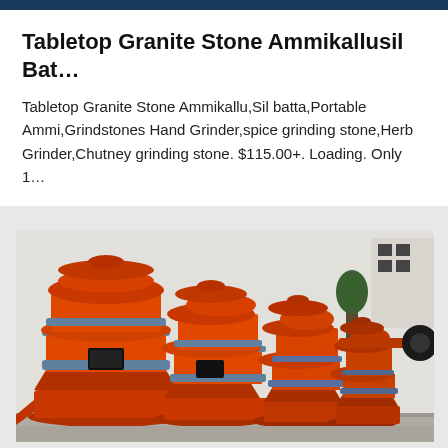Tabletop Granite Stone Ammikallusil Bat…
Tabletop Granite Stone Ammikallu,Sil batta,Portable Ammi,Grindstones Hand Grinder,spice grinding stone,Herb Grinder,Chutney grinding stone. $115.00+. Loading. Only 1…
[Figure (photo): Multiple orange industrial grinding/milling machines lined up in a row, photographed outdoors in a factory yard. The machines are large, cylindrical, orange-colored with metal bands, photographed from a perspective angle. A building and tree are visible in the background on the right.]